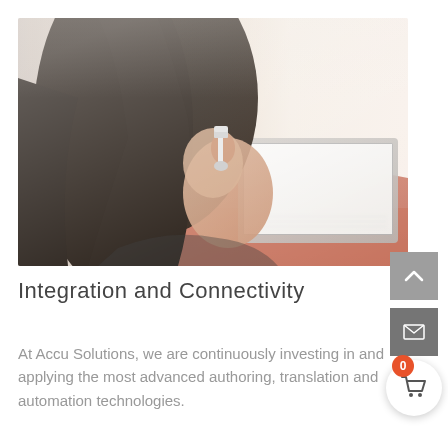[Figure (photo): A woman seen from behind with dark hair and a bluetooth headset earpiece, sitting in front of a blurred laptop, photographed in warm tones with a bright, overexposed background.]
Integration and Connectivity
At Accu Solutions, we are continuously investing in and applying the most advanced authoring, translation and automation technologies.